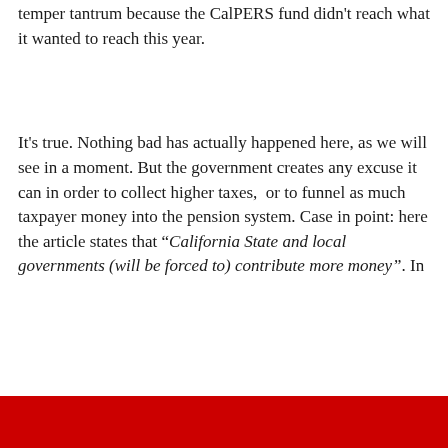temper tantrum because the CalPERS fund didn't reach what it wanted to reach this year.
It's true. Nothing bad has actually happened here, as we will see in a moment. But the government creates any excuse it can in order to collect higher taxes,  or to funnel as much taxpayer money into the pension system. Case in point: here the article states that “California State and local governments (will be forced to) contribute more money”. In
Privacy & Cookies: This site uses cookies. By continuing to use this website, you agree to their use.
To find out more, including how to control cookies, see here: Cookie Policy
Close and accept